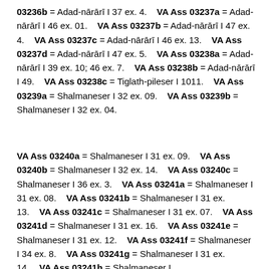03236b = Adad-nārārī I 37 ex. 4.    VA Ass 03237a = Adad-nārārī I 46 ex. 01.    VA Ass 03237b = Adad-nārārī I 47 ex. 4.    VA Ass 03237c = Adad-nārārī I 46 ex. 13.    VA Ass 03237d = Adad-nārārī I 47 ex. 5.    VA Ass 03238a = Adad-nārārī I 39 ex. 10; 46 ex. 7.    VA Ass 03238b = Adad-nārārī I 49.    VA Ass 03238c = Tiglath-pileser I 1011.    VA Ass 03239a = Shalmaneser I 32 ex. 09.    VA Ass 03239b = Shalmaneser I 32 ex. 04.
VA Ass 03240a = Shalmaneser I 31 ex. 09.    VA Ass 03240b = Shalmaneser I 32 ex. 14.    VA Ass 03240c = Shalmaneser I 36 ex. 3.    VA Ass 03241a = Shalmaneser I 31 ex. 08.    VA Ass 03241b = Shalmaneser I 31 ex. 13.    VA Ass 03241c = Shalmaneser I 31 ex. 07.    VA Ass 03241d = Shalmaneser I 31 ex. 16.    VA Ass 03241e = Shalmaneser I 31 ex. 12.    VA Ass 03241f = Shalmaneser I 34 ex. 8.    VA Ass 03241g = Shalmaneser I 31 ex. 14.    VA Ass 03241h = Shalmaneser I ...